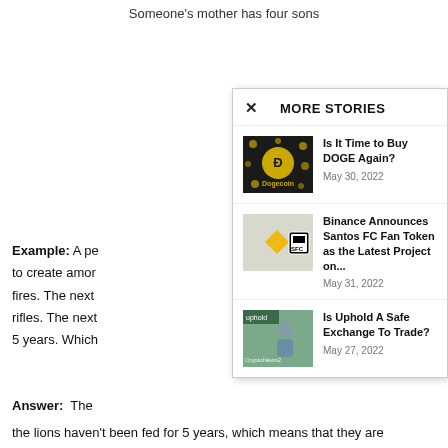Someone's mother has four sons
Example: A pe... to create amor... fires. The next... rifles. The next... 5 years. Which
[Figure (screenshot): More Stories panel overlay with three news articles: Is It Time to Buy DOGE Again? (May 30, 2022), Binance Announces Santos FC Fan Token as the Latest Project on... (May 31, 2022), Is Uphold A Safe Exchange To Trade? (May 27, 2022)]
Answer: The
the lions haven't been fed for 5 years, which means that they are dead.